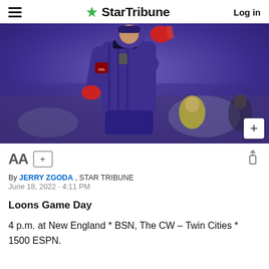StarTribune — Log in
[Figure (photo): Soccer goalkeeper in purple jersey with red gloves pointing, wearing FIFA World Cup Qatar 2022 badge, blurred background with yellow-shirted figure]
By JERRY ZGODA , STAR TRIBUNE
June 18, 2022 · 4:11 PM
Loons Game Day
4 p.m. at New England * BSN, The CW – Twin Cities * 1500 ESPN.